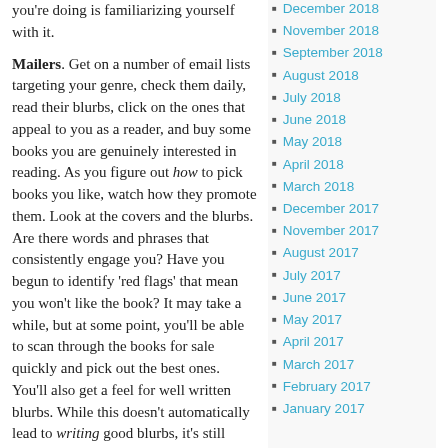you're doing is familiarizing yourself with it.
Mailers. Get on a number of email lists targeting your genre, check them daily, read their blurbs, click on the ones that appeal to you as a reader, and buy some books you are genuinely interested in reading. As you figure out how to pick books you like, watch how they promote them. Look at the covers and the blurbs. Are there words and phrases that consistently engage you? Have you begun to identify 'red flags' that mean you won't like the book? It may take a while, but at some point, you'll be able to scan through the books for sale quickly and pick out the best ones. You'll also get a feel for well written blurbs. While this doesn't automatically lead to writing good blurbs, it's still valuable.
December 2018
November 2018
September 2018
August 2018
July 2018
June 2018
May 2018
April 2018
March 2018
December 2017
November 2017
August 2017
July 2017
June 2017
May 2017
April 2017
March 2017
February 2017
January 2017